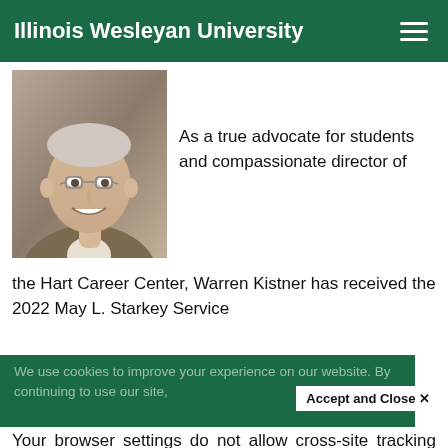Illinois Wesleyan University
[Figure (photo): Headshot of Warren Kistner, a middle-aged man with glasses, smiling, wearing a brown jacket]
As a true advocate for students and compassionate director of the Hart Career Center, Warren Kistner has received the 2022 May L. Starkey Service
We use cookies to improve your experience on our website. By continuing to use our site,
Accept and Close ✕
Your browser settings do not allow cross-site tracking for advertising. Click on this page to allow AdRoll to use cross-site tracking to tailor ads to you. Learn more or opt out of this AdRoll tracking by clicking here. This message only appears once.